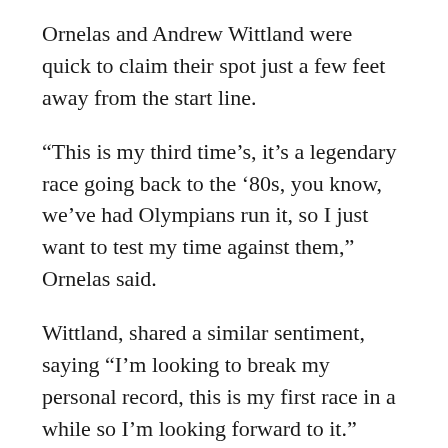Ornelas and Andrew Wittland were quick to claim their spot just a few feet away from the start line.
“This is my third time’s, it’s a legendary race going back to the ’80s, you know, we’ve had Olympians run it, so I just want to test my time against them,” Ornelas said.
Wittland, shared a similar sentiment, saying “I’m looking to break my personal record, this is my first race in a while so I’m looking forward to it.”
Fifty minutes 53 seconds and 10 miles later, Ornelas would be the first to cross the finishing line, earning him a seat at the proverbial table with the other 43 Grim champions.